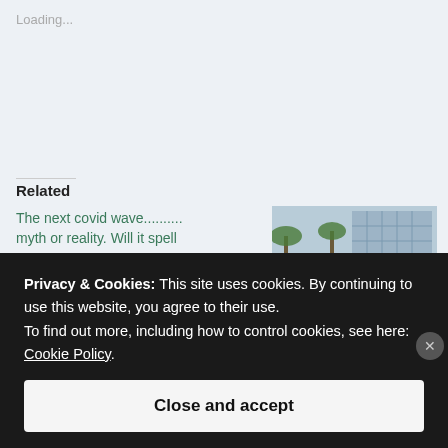Loading...
Related
The next covid wave.......... myth or reality. Will it spell disaster.
The world witnessed the back-to-back waves of covid (8) bringing with it...
[Figure (photo): A blue vintage motorcycle (Suzuki) parked outdoors in front of a glass building with palm trees in the background.]
Privacy & Cookies: This site uses cookies. By continuing to use this website, you agree to their use.
To find out more, including how to control cookies, see here: Cookie Policy.
Close and accept